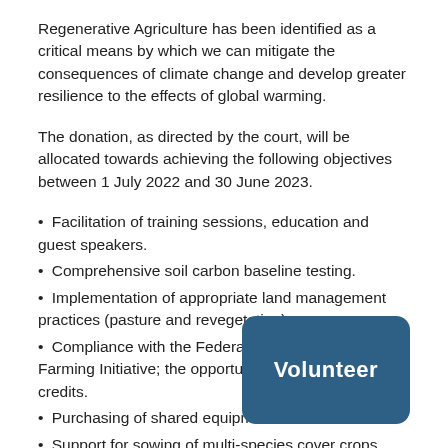Regenerative Agriculture has been identified as a critical means by which we can mitigate the consequences of climate change and develop greater resilience to the effects of global warming.
The donation, as directed by the court, will be allocated towards achieving the following objectives between 1 July 2022 and 30 June 2023.
Facilitation of training sessions, education and guest speakers.
Comprehensive soil carbon baseline testing.
Implementation of appropriate land management practices (pasture and revegetation);
Compliance with the Federal Government Carbon Farming Initiative; the opportunity to [earn carbon] credits.
Purchasing of shared equipment re[lated items].
Support for sowing of multi-species cover crops.
Program management and administration.
[Figure (other): Blue rounded rectangle button with white text reading 'Volunteer']